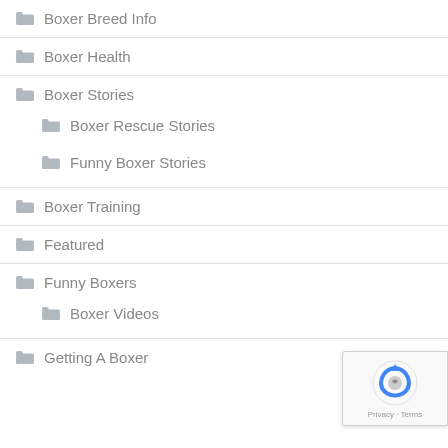Boxer Breed Info
Boxer Health
Boxer Stories
Boxer Rescue Stories
Funny Boxer Stories
Boxer Training
Featured
Funny Boxers
Boxer Videos
Getting A Boxer